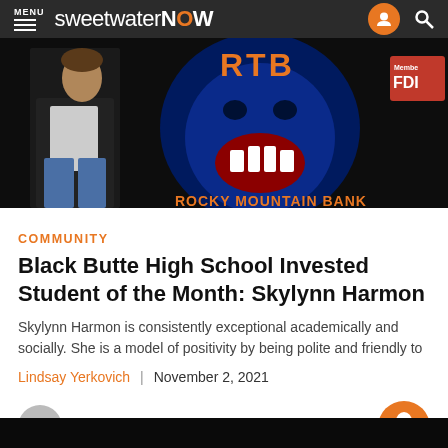MENU sweetwaterNOW
[Figure (photo): Hero banner image showing a person in a black jacket on the left, and a blue bear mascot graphic with orange text reading 'ROCKY MOUNTAIN BANK' on the right. Also shows a partial 'Member FDIC' badge in the upper right corner. Dark background.]
COMMUNITY
Black Butte High School Invested Student of the Month: Skylynn Harmon
Skylynn Harmon is consistently exceptional academically and socially. She is a model of positivity by being polite and friendly to
Lindsay Yerkovich | November 2, 2021